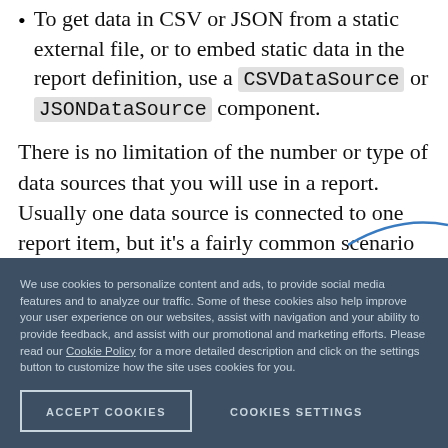To get data in CSV or JSON from a static external file, or to embed static data in the report definition, use a CSVDataSource or JSONDataSource component.
There is no limitation of the number or type of data sources that you will use in a report. Usually one data source is connected to one report item, but it's a fairly common scenario to have a Table and a Graph item which are using the same data source component to provide different representations of the underlyin…
We use cookies to personalize content and ads, to provide social media features and to analyze our traffic. Some of these cookies also help improve your user experience on our websites, assist with navigation and your ability to provide feedback, and assist with our promotional and marketing efforts. Please read our Cookie Policy for a more detailed description and click on the settings button to customize how the site uses cookies for you.